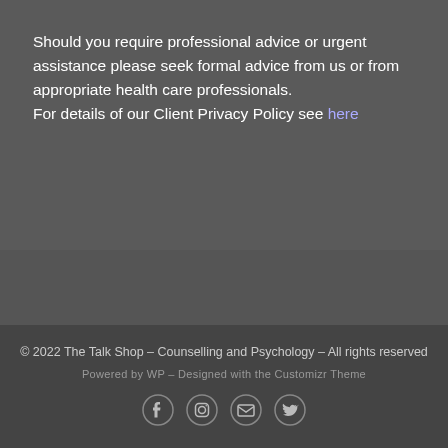Should you require professional advice or urgent assistance please seek formal advice from us or from appropriate health care professionals.
For details of our Client Privacy Policy see here
© 2022 The Talk Shop – Counselling and Psychology – All rights reserved
Powered by WP – Designed with the Customizr Theme